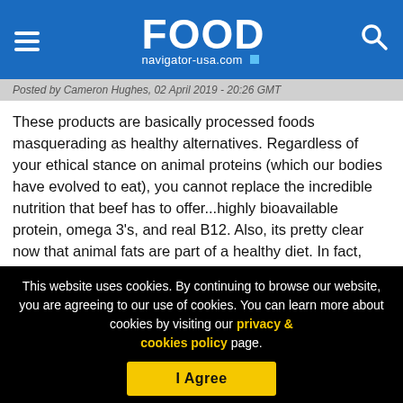FOOD navigator-usa.com
Posted by Cameron Hughes, 02 April 2019 - 20:26 GMT
These products are basically processed foods masquerading as healthy alternatives. Regardless of your ethical stance on animal proteins (which our bodies have evolved to eat), you cannot replace the incredible nutrition that beef has to offer...highly bioavailable protein, omega 3's, and real B12. Also, its pretty clear now that animal fats are part of a healthy diet. In fact, over the last 50 years, you can chart the decline in per capita beef consumption with the rise in consumption of vegetable-derived fats and added sugars and the rise in heart disease/chronic illness From Impossible website: basically its
This website uses cookies. By continuing to browse our website, you are agreeing to our use of cookies. You can learn more about cookies by visiting our privacy & cookies policy page.
I Agree